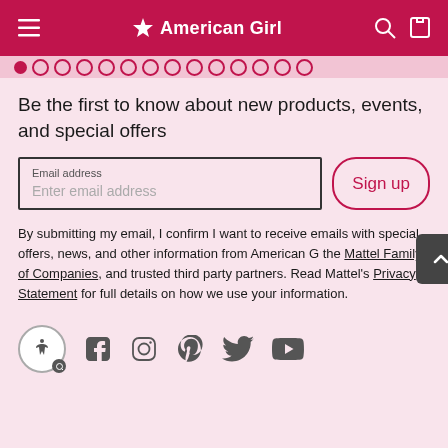American Girl navigation bar
Be the first to know about new products, events, and special offers
Email address / Enter email address / Sign up
By submitting my email, I confirm I want to receive emails with special offers, news, and other information from American Girl, the Mattel Family of Companies, and trusted third party partners. Read Mattel's Privacy Statement for full details on how we use your information.
[Figure (other): Social media icons row: accessibility icon, Facebook, Instagram, Pinterest, Twitter, YouTube]